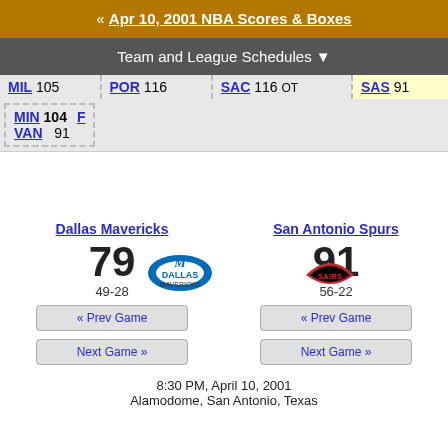« Apr 10, 2001 NBA Scores & Boxes
Team and League Schedules ▼
| MIL 105 | POR 116 | SAC 116 OT | SAS 91 |
| MIN 104 F | VAN 91 |  |  |
[Figure (logo): Dallas Mavericks logo]
[Figure (logo): San Antonio Spurs logo]
Dallas Mavericks
San Antonio Spurs
79
91
49-28
56-22
« Prev Game
« Prev Game
Next Game »
Next Game »
8:30 PM, April 10, 2001
Alamodome, San Antonio, Texas